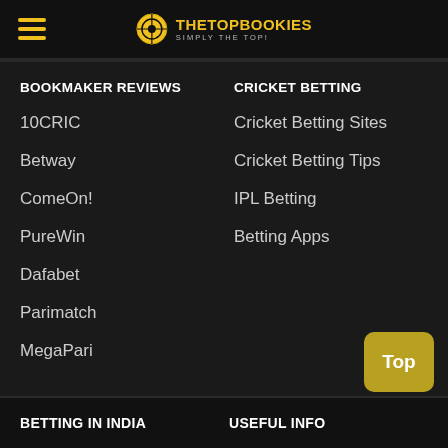THETOPBOOKIES — SIMPLY THE TOP!
BOOKMAKER REVIEWS
CRICKET BETTING
10CRIC
Cricket Betting Sites
Betway
Cricket Betting Tips
ComeOn!
IPL Betting
PureWin
Betting Apps
Dafabet
Parimatch
MegaPari
BETTING IN INDIA
USEFUL INFO